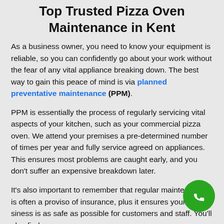Top Trusted Pizza Oven Maintenance in Kent
As a business owner, you need to know your equipment is reliable, so you can confidently go about your work without the fear of any vital appliance breaking down. The best way to gain this peace of mind is via planned preventative maintenance (PPM).
PPM is essentially the process of regularly servicing vital aspects of your kitchen, such as your commercial pizza oven. We attend your premises a pre-determined number of times per year and fully service agreed on appliances. This ensures most problems are caught early, and you don't suffer an expensive breakdown later.
It's also important to remember that regular maintenance is often a proviso of insurance, plus it ensures your business is as safe as possible for customers and staff. You'll also find